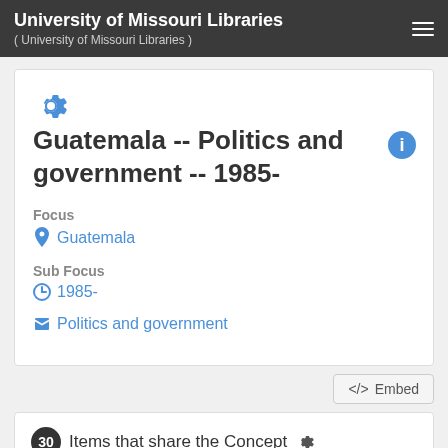University of Missouri Libraries ( University of Missouri Libraries )
Guatemala -- Politics and government -- 1985-
Focus
Guatemala
Sub Focus
1985-
Politics and government
</> Embed
30 Items that share the Concept  Guatemala -- Politics and government -- 1985-